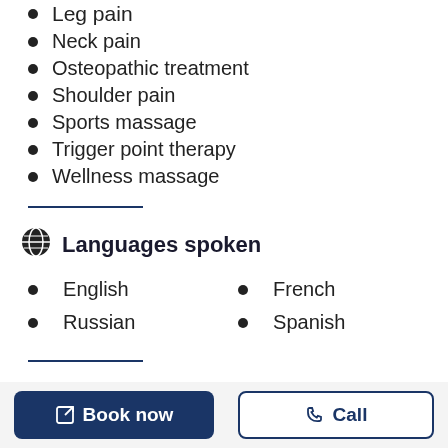Leg pain
Neck pain
Osteopathic treatment
Shoulder pain
Sports massage
Trigger point therapy
Wellness massage
Languages spoken
English
Russian
French
Spanish